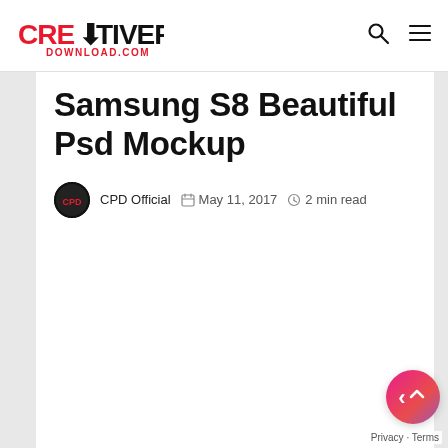CREATIVEPSD DOWNLOAD.COM
Samsung S8 Beautiful Psd Mockup
CPD Official  May 11, 2017  2 min read